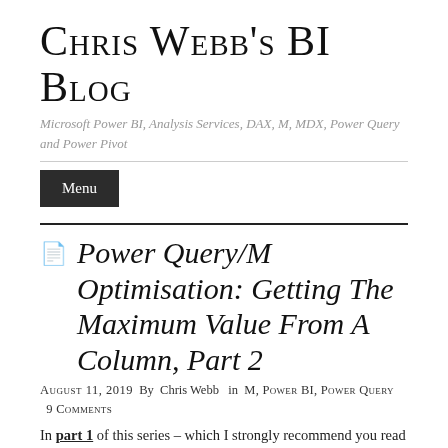Chris Webb's BI Blog
Microsoft Power BI, Analysis Services, DAX, M, MDX, Power Query and Power Pivot
Power Query/M Optimisation: Getting The Maximum Value From A Column, Part 2
August 11, 2019  By  Chris Webb  in M, Power BI, Power Query  9 Comments
In part 1 of this series – which I strongly recommend you read before reading this post – I showed how removing columns from a table can make a dramatic improvement to the performance of certain